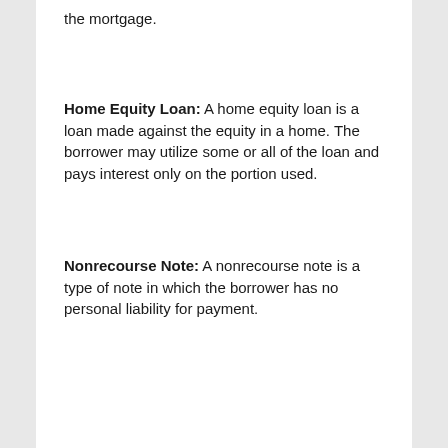the mortgage.
Home Equity Loan: A home equity loan is a loan made against the equity in a home. The borrower may utilize some or all of the loan and pays interest only on the portion used.
Nonrecourse Note: A nonrecourse note is a type of note in which the borrower has no personal liability for payment.